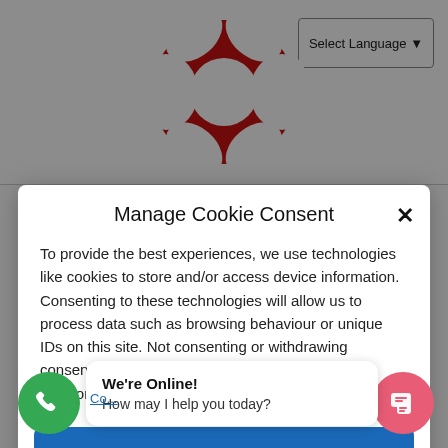[Figure (logo): Red circular logo resembling a life preserver or bowtie shape at the top center of the page]
Select Language ▾
Manage Cookie Consent
To provide the best experiences, we use technologies like cookies to store and/or access device information. Consenting to these technologies will allow us to process data such as browsing behaviour or unique IDs on this site. Not consenting or withdrawing consent, may adversely affect certain features and functions.
Accept
Deny
View preferences
We're Online!
How may I help you today?